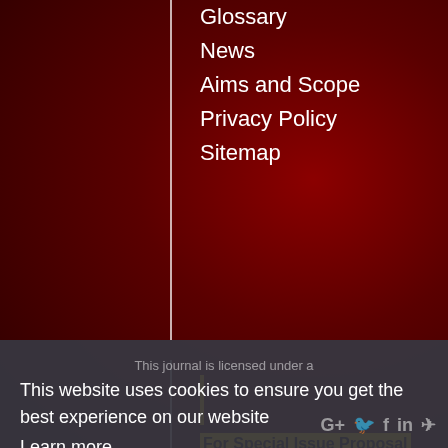Glossary
News
Aims and Scope
Privacy Policy
Sitemap
For Special Issue Proposal : editor.ejmcm21@gmail.com
This journal is licensed under a
This website uses cookies to ensure you get the best experience on our website
Learn more
Powered by eJournalPlus
Got it!